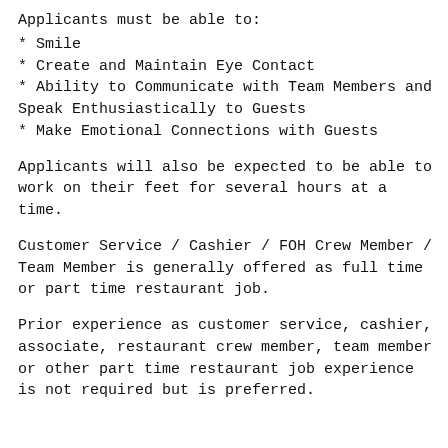Applicants must be able to:
* Smile
* Create and Maintain Eye Contact
* Ability to Communicate with Team Members and Speak Enthusiastically to Guests
* Make Emotional Connections with Guests
Applicants will also be expected to be able to work on their feet for several hours at a time.
Customer Service / Cashier / FOH Crew Member / Team Member is generally offered as full time or part time restaurant job.
Prior experience as customer service, cashier, associate, restaurant crew member, team member or other part time restaurant job experience is not required but is preferred.